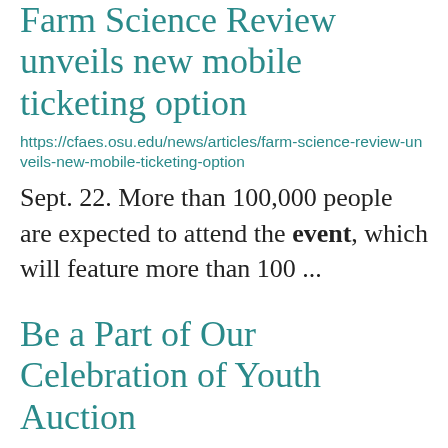Farm Science Review unveils new mobile ticketing option
https://cfaes.osu.edu/news/articles/farm-science-review-unveils-new-mobile-ticketing-option
Sept. 22. More than 100,000 people are expected to attend the event, which will feature more than 100 ...
Be a Part of Our Celebration of Youth Auction
https://ohio4h.org/august-2022/be-part-our-celebration-youth-auction
fellowship event for adults 21 and over that raises money to support 4-H youth development across Ohio. This ... items or